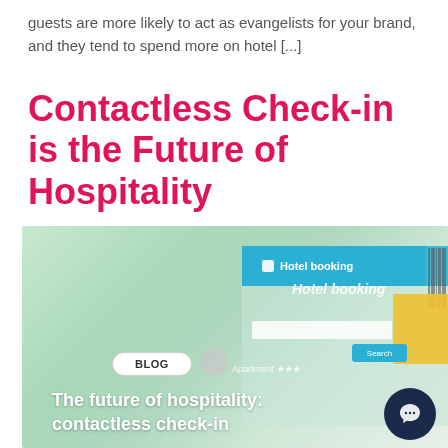guests are more likely to act as evangelists for your brand, and they tend to spend more on hotel [...]
Contactless Check-in is the Future of Hospitality
[Figure (photo): A laptop screen showing a hotel booking website interface with a blue header bar reading 'Hotel booking', a search bar, and a yellow sticky note. Overlaid text at the bottom reads 'BLOG' with a button, and 'The future of hospitality: contactless check-in'. A dark navy chat bubble icon is in the bottom right corner.]